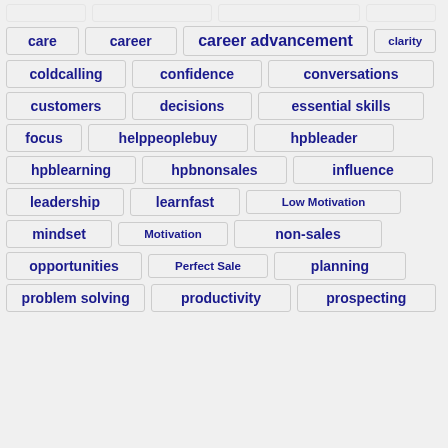care
career
career advancement
clarity
coldcalling
confidence
conversations
customers
decisions
essential skills
focus
helppeoplebuy
hpbleader
hpblearning
hpbnonsales
influence
leadership
learnfast
Low Motivation
mindset
Motivation
non-sales
opportunities
Perfect Sale
planning
problem solving
productivity
prospecting